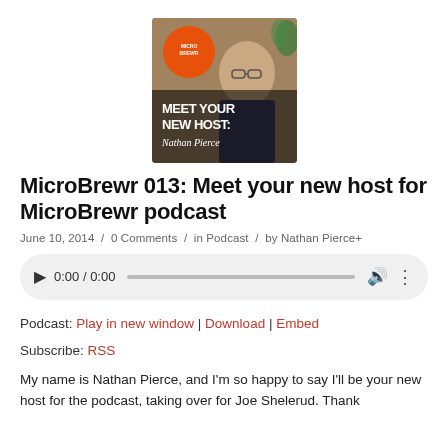[Figure (photo): Podcast episode thumbnail image with a man wearing glasses and text overlay reading 'MEET YOUR NEW HOST: Nathan Pierce' with an orange circular logo in the top left corner]
MicroBrewr 013: Meet your new host for MicroBrewr podcast
June 10, 2014 / 0 Comments / in Podcast / by Nathan Pierce+
[Figure (screenshot): Audio player widget showing 0:00 / 0:00 with play button, progress bar, volume icon, and more options icon]
Podcast: Play in new window | Download | Embed
Subscribe: RSS
My name is Nathan Pierce, and I'm so happy to say I'll be your new host for the podcast, taking over for Joe Shelerud. Thank